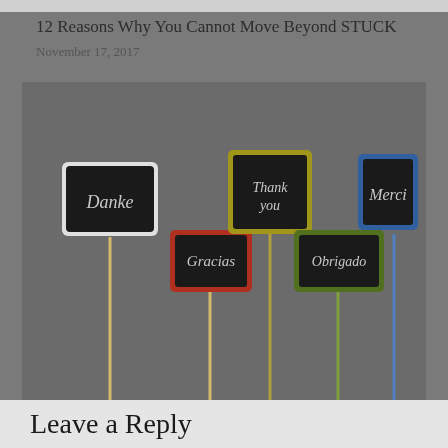12 Reasons Why You Cannot Move Beyond STUCK
November 17, 2017
[Figure (photo): Five chalkboard signs on sticks showing 'thank you' in different languages: Danke (white border), Gracias (red border), Thank you (olive/yellow border), Obrigado (green border), Merci (blue border). Set against a dark gray background.]
OMG!!!
Leave a Reply